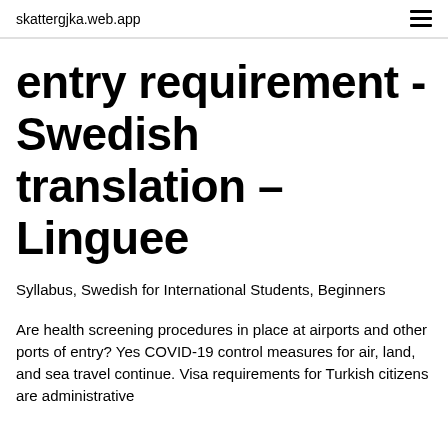skattergjka.web.app
entry requirement - Swedish translation – Linguee
Syllabus, Swedish for International Students, Beginners
Are health screening procedures in place at airports and other ports of entry? Yes COVID-19 control measures for air, land, and sea travel continue. Visa requirements for Turkish citizens are administrative